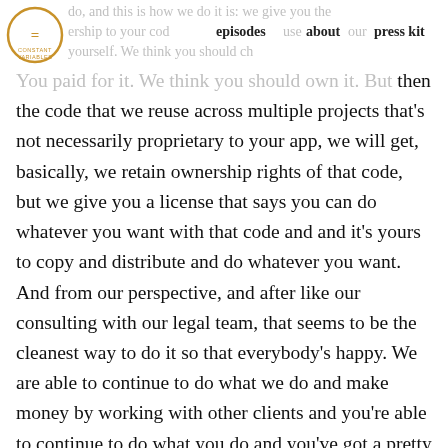episodes  about  press kit
You paid for it. We think you should own it. But then the code that we reuse across multiple projects that's not necessarily proprietary to your app, we will get, basically, we retain ownership rights of that code, but we give you a license that says you can do whatever you want with that code and and it's yours to copy and distribute and do whatever you want. And from our perspective, and after like our consulting with our legal team, that seems to be the cleanest way to do it so that everybody's happy. We are able to continue to do what we do and make money by working with other clients and you're able to continue to do what you do and you've got a pretty profile picture capability within your app.